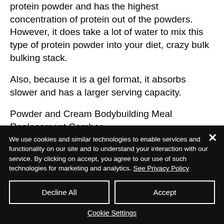protein powder and has the highest concentration of protein out of the powders. However, it does take a lot of water to mix this type of protein powder into your diet, crazy bulk bulking stack.
Also, because it is a gel format, it absorbs slower and has a larger serving capacity.
Powder and Cream Bodybuilding Meal Replacement Combos.
We use cookies and similar technologies to enable services and functionality on our site and to understand your interaction with our service. By clicking on accept, you agree to our use of such technologies for marketing and analytics. See Privacy Policy